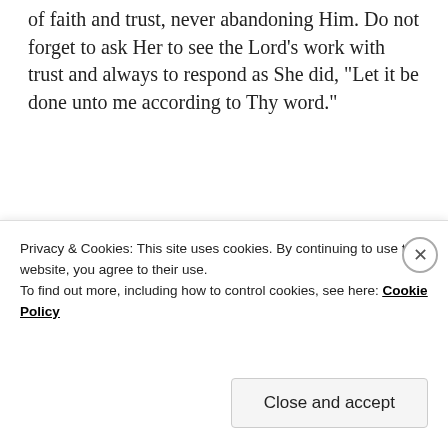of faith and trust, never abandoning Him. Do not forget to ask Her to see the Lord’s work with trust and always to respond as She did, “Let it be done unto me according to Thy word.”
The Rev. Royce V. Gregerson
St. Charles Borromeo Church, Fort Wayne, Ind.
XVII Sunday through the Year
Sponsored Content
[Figure (photo): Partial photo of a person with blonde hair, cropped at the top of the page section]
Privacy & Cookies: This site uses cookies. By continuing to use this website, you agree to their use.
To find out more, including how to control cookies, see here: Cookie Policy
Close and accept